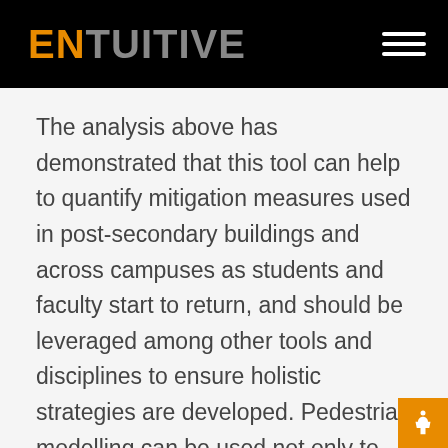ENTUITIVE
The analysis above has demonstrated that this tool can help to quantify mitigation measures used in post-secondary buildings and across campuses as students and faculty start to return, and should be leveraged among other tools and disciplines to ensure holistic strategies are developed. Pedestrian modelling can be used not only to